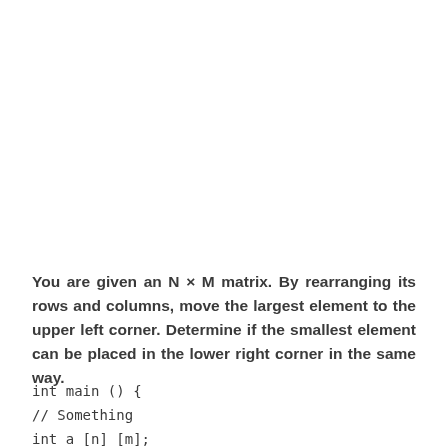You are given an N × M matrix. By rearranging its rows and columns, move the largest element to the upper left corner. Determine if the smallest element can be placed in the lower right corner in the same way.
int main () {
// Something
int a [n] [m];
// Init